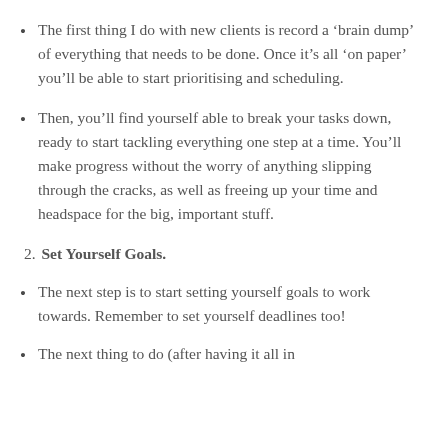The first thing I do with new clients is record a ‘brain dump’ of everything that needs to be done. Once it’s all ‘on paper’ you’ll be able to start prioritising and scheduling.
Then, you’ll find yourself able to break your tasks down, ready to start tackling everything one step at a time. You’ll make progress without the worry of anything slipping through the cracks, as well as freeing up your time and headspace for the big, important stuff.
2. Set Yourself Goals.
The next step is to start setting yourself goals to work towards. Remember to set yourself deadlines too!
The next thing to do (after having it all in...